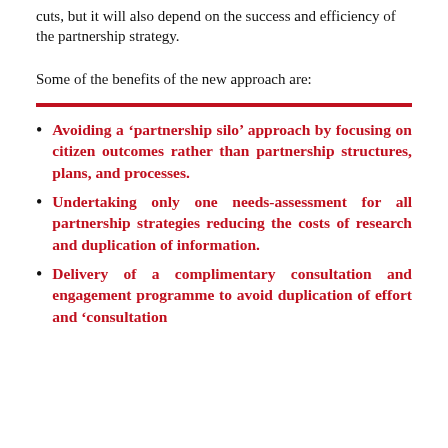cuts, but it will also depend on the success and efficiency of the partnership strategy.
Some of the benefits of the new approach are:
Avoiding a ‘partnership silo’ approach by focusing on citizen outcomes rather than partnership structures, plans, and processes.
Undertaking only one needs-assessment for all partnership strategies reducing the costs of research and duplication of information.
Delivery of a complimentary consultation and engagement programme to avoid duplication of effort and ‘consultation